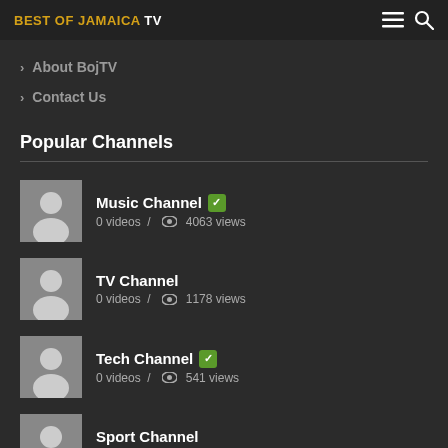BEST OF JAMAICA TV
About BojTV
Contact Us
Popular Channels
Music Channel — 0 videos / 4063 views
TV Channel — 0 videos / 1178 views
Tech Channel — 0 videos / 541 views
Sport Channel — 0 videos / 533 views